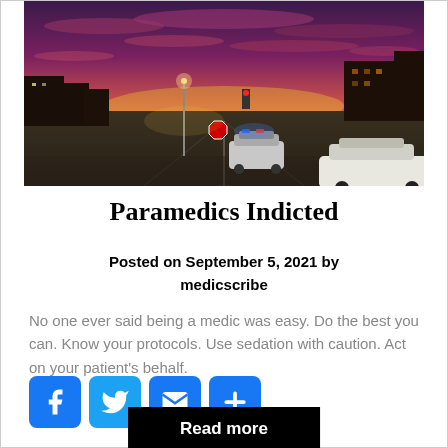[Figure (photo): A street intersection at dusk/sunset with a pink and purple sky. A police car with lights on is visible at the intersection, and another white car is in the foreground. City buildings are silhouetted against the colorful sky.]
Paramedics Indicted
Posted on September 5, 2021 by medicscribe
No one ever said being a medic was easy. Do the best you can.  Know your protocols.  Use sedation with caution.  Act on your patient's behalf.
[Figure (other): Social sharing buttons: Facebook (f), Twitter (bird), Email (envelope), More/Share (+)]
Read more